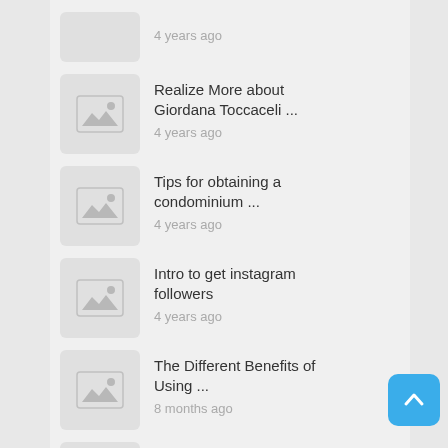4 years ago
Realize More about Giordana Toccaceli ...
4 years ago
Tips for obtaining a condominium ...
4 years ago
Intro to get instagram followers
4 years ago
The Different Benefits of Using ...
8 months ago
Reasons Why